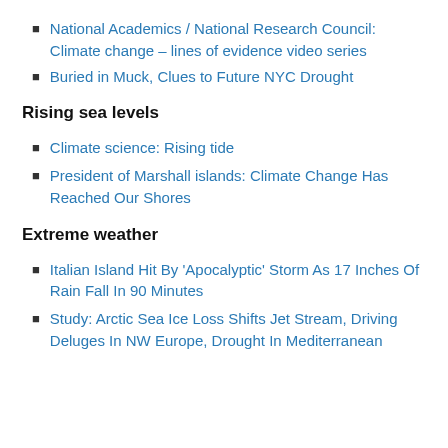National Academics / National Research Council: Climate change – lines of evidence video series
Buried in Muck, Clues to Future NYC Drought
Rising sea levels
Climate science: Rising tide
President of Marshall islands: Climate Change Has Reached Our Shores
Extreme weather
Italian Island Hit By 'Apocalyptic' Storm As 17 Inches Of Rain Fall In 90 Minutes
Study: Arctic Sea Ice Loss Shifts Jet Stream, Driving Deluges In NW Europe, Drought In Mediterranean